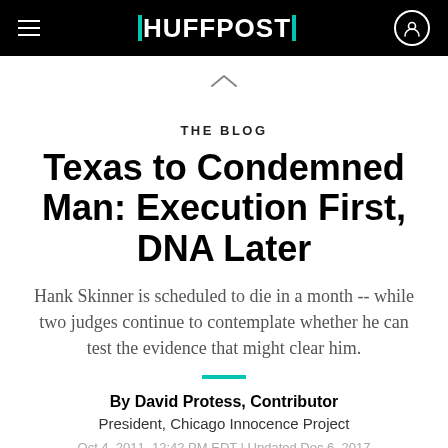HUFFPOST
THE BLOG
Texas to Condemned Man: Execution First, DNA Later
Hank Skinner is scheduled to die in a month -- while two judges continue to contemplate whether he can test the evidence that might clear him.
By David Protess, Contributor
President, Chicago Innocence Project
Oct 4, 2011, 12:42 PM EDT | Updated Dec 6, 2017